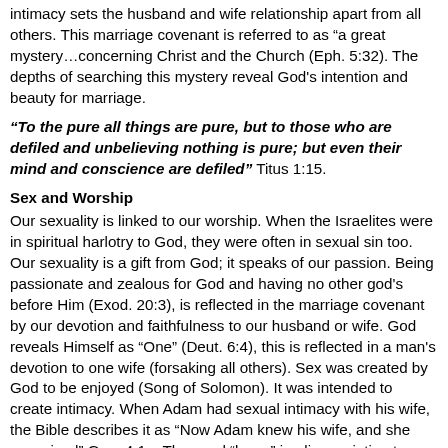intimacy sets the husband and wife relationship apart from all others. This marriage covenant is referred to as “a great mystery…concerning Christ and the Church (Eph. 5:32). The depths of searching this mystery reveal God's intention and beauty for marriage.
“To the pure all things are pure, but to those who are defiled and unbelieving nothing is pure; but even their mind and conscience are defiled” Titus 1:15.
Sex and Worship
Our sexuality is linked to our worship. When the Israelites were in spiritual harlotry to God, they were often in sexual sin too. Our sexuality is a gift from God; it speaks of our passion. Being passionate and zealous for God and having no other god's before Him (Exod. 20:3), is reflected in the marriage covenant by our devotion and faithfulness to our husband or wife. God reveals Himself as “One” (Deut. 6:4), this is reflected in a man's devotion to one wife (forsaking all others). Sex was created by God to be enjoyed (Song of Solomon). It was intended to create intimacy. When Adam had sexual intimacy with his wife, the Bible describes it as “Now Adam knew his wife, and she conceived” Gen. 4:1a. The word “knew” implies an intimate knowledge. Similarly God wants us to enjoy